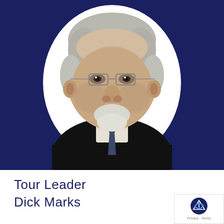[Figure (photo): Portrait photo of an older man with grey hair, glasses, white goatee beard, wearing a dark suit jacket, white shirt and patterned tie. The photo is cut out (white outline) and placed on a dark navy blue background.]
Tour Leader
Dick Marks